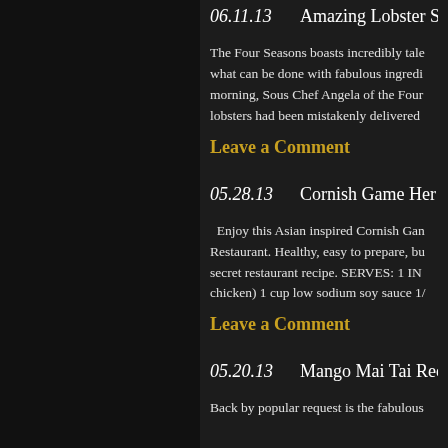06.11.13   Amazing Lobster S...
The Four Seasons boasts incredibly tale... what can be done with fabulous ingredi... morning, Sous Chef Angela of the Four... lobsters had been mistakenly delivered...
Leave a Comment
05.28.13   Cornish Game Her...
Enjoy this Asian inspired Cornish Gan... Restaurant. Healthy, easy to prepare, bu... secret restaurant recipe. SERVES: 1 IN... chicken) 1 cup low sodium soy sauce 1/...
Leave a Comment
05.20.13   Mango Mai Tai Rec...
Back by popular request is the fabulous...